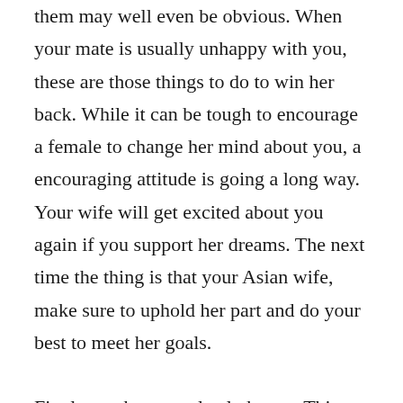them may well even be obvious. When your mate is usually unhappy with you, these are those things to do to win her back. While it can be tough to encourage a female to change her mind about you, a encouraging attitude is going a long way. Your wife will get excited about you again if you support her dreams. The next time the thing is that your Asian wife, make sure to uphold her part and do your best to meet her goals.
Firstly, get her completely happy. This will